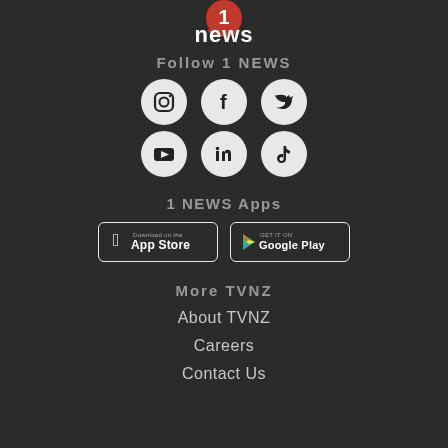[Figure (logo): 1 NEWS logo with red circular icon and white text on dark background]
Follow 1 NEWS
[Figure (infographic): Six social media icons in two rows: Instagram, Facebook, Twitter (top row); YouTube, LinkedIn, TikTok (bottom row)]
1 NEWS Apps
[Figure (infographic): Two app store badges: Download on the App Store (Apple) and Get it on Google Play]
More TVNZ
About TVNZ
Careers
Contact Us